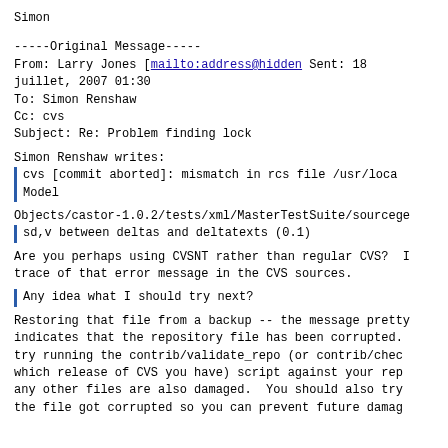Simon
-----Original Message-----
From: Larry Jones [mailto:address@hidden Sent: 18 juillet, 2007 01:30
To: Simon Renshaw
Cc: cvs
Subject: Re: Problem finding lock
Simon Renshaw writes:
cvs [commit aborted]: mismatch in rcs file /usr/loca
Model
Objects/castor-1.0.2/tests/xml/MasterTestSuite/sourcege
sd,v between deltas and deltatexts (0.1)
Are you perhaps using CVSNT rather than regular CVS? I
trace of that error message in the CVS sources.
Any idea what I should try next?
Restoring that file from a backup -- the message pretty
indicates that the repository file has been corrupted.
try running the contrib/validate_repo (or contrib/chec
which release of CVS you have) script against your rep
any other files are also damaged.  You should also try
the file got corrupted so you can prevent future damag